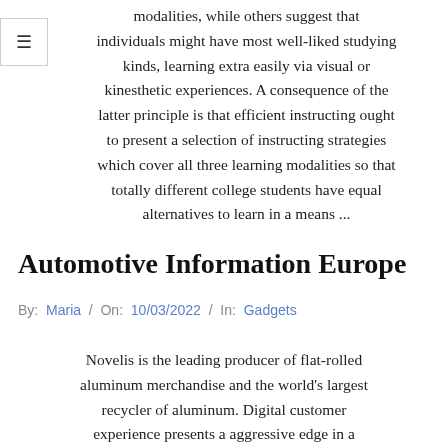modalities, while others suggest that individuals might have most well-liked studying kinds, learning extra easily via visual or kinesthetic experiences. A consequence of the latter principle is that efficient instructing ought to present a selection of instructing strategies which cover all three learning modalities so that totally different college students have equal alternatives to learn in a means ...
Automotive Information Europe
By: Maria / On: 10/03/2022 / In: Gadgets
Novelis is the leading producer of flat-rolled aluminum merchandise and the world's largest recycler of aluminum. Digital customer experience presents a aggressive edge in a